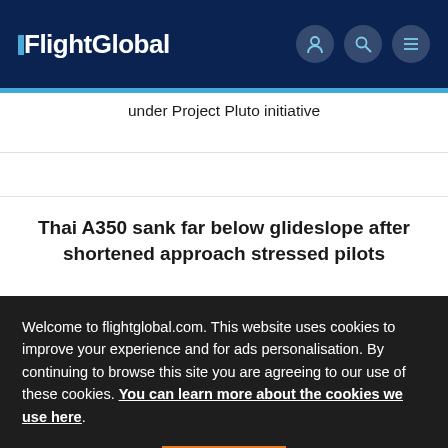FlightGlobal
under Project Pluto initiative
Thai A350 sank far below glideslope after shortened approach stressed pilots
Welcome to flightglobal.com. This website uses cookies to improve your experience and for ads personalisation. By continuing to browse this site you are agreeing to our use of these cookies. You can learn more about the cookies we use here.